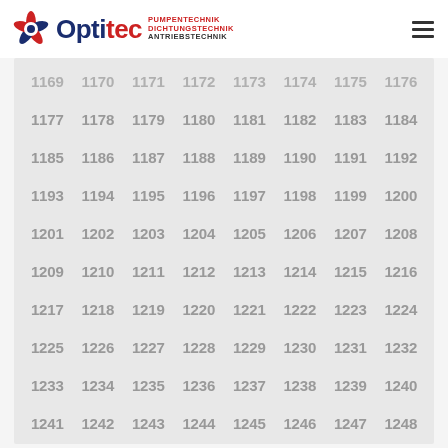Optitec - PUMPENTECHNIK DICHTUNGSTECHNIK ANTRIEBSTECHNIK
| 1169 | 1170 | 1171 | 1172 | 1173 | 1174 | 1175 | 1176 |
| 1177 | 1178 | 1179 | 1180 | 1181 | 1182 | 1183 | 1184 |
| 1185 | 1186 | 1187 | 1188 | 1189 | 1190 | 1191 | 1192 |
| 1193 | 1194 | 1195 | 1196 | 1197 | 1198 | 1199 | 1200 |
| 1201 | 1202 | 1203 | 1204 | 1205 | 1206 | 1207 | 1208 |
| 1209 | 1210 | 1211 | 1212 | 1213 | 1214 | 1215 | 1216 |
| 1217 | 1218 | 1219 | 1220 | 1221 | 1222 | 1223 | 1224 |
| 1225 | 1226 | 1227 | 1228 | 1229 | 1230 | 1231 | 1232 |
| 1233 | 1234 | 1235 | 1236 | 1237 | 1238 | 1239 | 1240 |
| 1241 | 1242 | 1243 | 1244 | 1245 | 1246 | 1247 | 1248 |
| 1249 | 1250 | 1251 | 1252 | 1253 | 1254 | 1255 | 1256 |
| 1257 | 1258 | 1259 | 1260 | 1261 | 1262 | 1263 | 1264 |